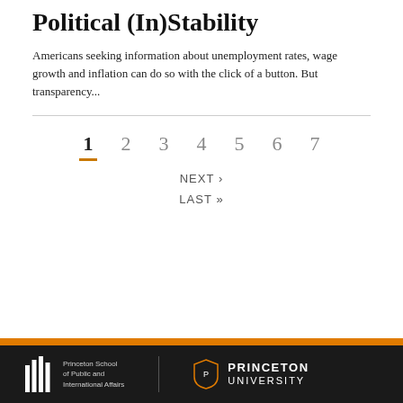Political (In)Stability
Americans seeking information about unemployment rates, wage growth and inflation can do so with the click of a button. But transparency...
1  2  3  4  5  6  7  NEXT ›  LAST »
Princeton School of Public and International Affairs  PRINCETON UNIVERSITY